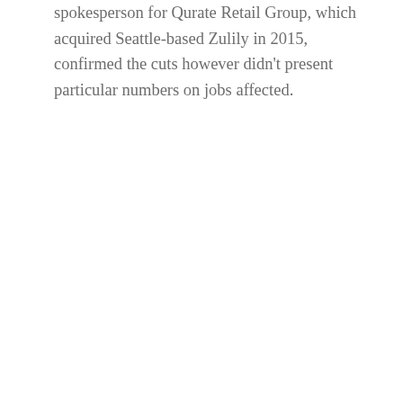spokesperson for Qurate Retail Group, which acquired Seattle-based Zulily in 2015, confirmed the cuts however didn't present particular numbers on jobs affected.